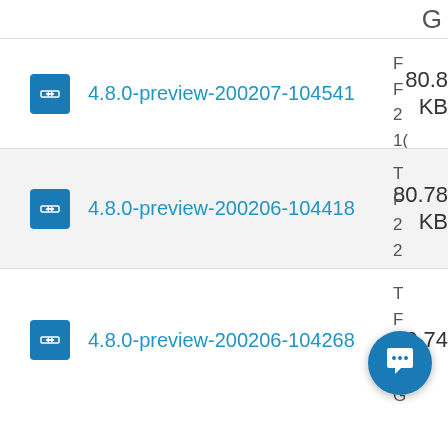4.8.0-preview-200207-104541, 80.8 KB
4.8.0-preview-200206-104418, 80.78 KB
4.8.0-preview-200206-104268, 80.74 KB